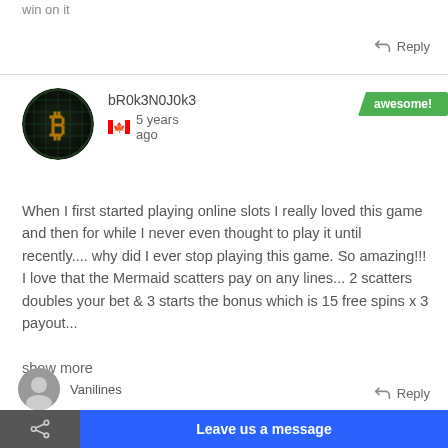win on it
Reply
bR0k3N0J0k3
5 years ago
awesome!
When I first started playing online slots I really loved this game and then for while I never even thought to play it until recently.... why did I ever stop playing this game. So amazing!!! I love that the Mermaid scatters pay on any lines... 2 scatters doubles your bet & 3 starts the bonus which is 15 free spins x 3 payout...
show more
Reply
Vanilines
Leave us a message